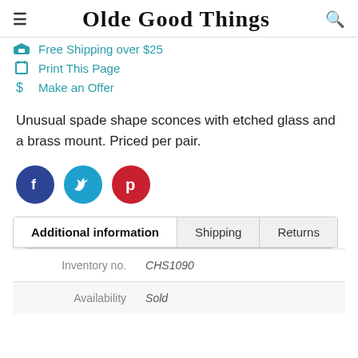Olde Good Things
Free Shipping over $25
Print This Page
Make an Offer
Unusual spade shape sconces with etched glass and a brass mount. Priced per pair.
[Figure (infographic): Social share buttons: Facebook (dark blue circle), Twitter (light blue circle), Pinterest (red circle)]
Additional information | Shipping | Returns
|  |  |
| --- | --- |
| Inventory no. | CHS1090 |
| Availability | Sold |